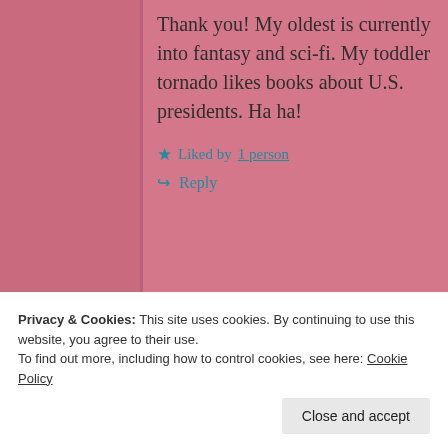Thank you! My oldest is currently into fantasy and sci-fi. My toddler tornado likes books about U.S. presidents. Ha ha!
★ Liked by 1 person
↳ Reply
Privacy & Cookies: This site uses cookies. By continuing to use this website, you agree to their use. To find out more, including how to control cookies, see here: Cookie Policy
Close and accept
Ok that was